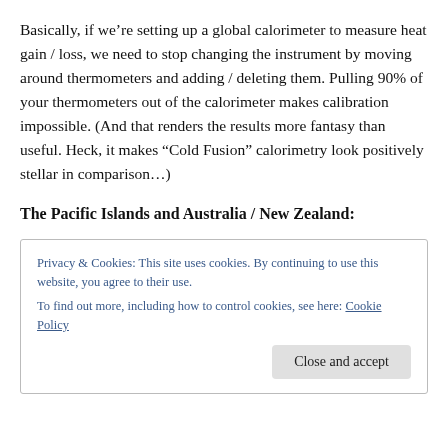Basically, if we're setting up a global calorimeter to measure heat gain / loss, we need to stop changing the instrument by moving around thermometers and adding / deleting them. Pulling 90% of your thermometers out of the calorimeter makes calibration impossible. (And that renders the results more fantasy than useful. Heck, it makes “Cold Fusion” calorimetry look positively stellar in comparison…)
The Pacific Islands and Australia / New Zealand:
Privacy & Cookies: This site uses cookies. By continuing to use this website, you agree to their use.
To find out more, including how to control cookies, see here: Cookie Policy